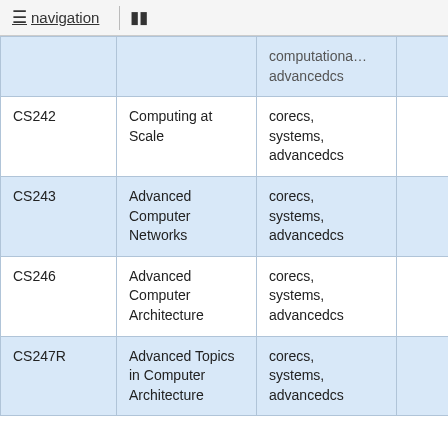navigation
| Course | Title | Tags |  |
| --- | --- | --- | --- |
|  |  | computationa... advancedcs |  |
| CS242 | Computing at Scale | corecs, systems, advancedcs |  |
| CS243 | Advanced Computer Networks | corecs, systems, advancedcs |  |
| CS246 | Advanced Computer Architecture | corecs, systems, advancedcs |  |
| CS247R | Advanced Topics in Computer Architecture | corecs, systems, advancedcs |  |